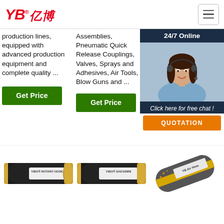[Figure (logo): YB亿博 company logo in red italic text with registered trademark symbol]
production lines, equipped with advanced production equipment and complete quality ...
Assemblies, Pneumatic Quick Release Couplings, Valves, Sprays and Adhesives, Air Tools, Blow Guns and ...
balanced pressure hos
[Figure (photo): 24/7 Online customer service representative with headset, dark background overlay with click here for free chat and QUOTATION button]
[Figure (photo): Three industrial hoses: YIBO ROTARY HOSE, YIBO SAE100R9, and YB Air Hose products shown side by side]